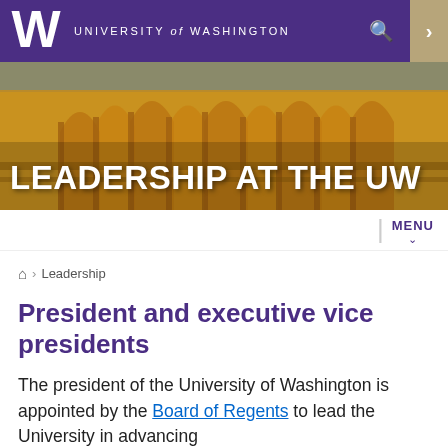UNIVERSITY of WASHINGTON
[Figure (photo): University of Washington gothic architecture building facade with golden stone arches, hero banner with text LEADERSHIP AT THE UW]
LEADERSHIP AT THE UW
MENU
Home > Leadership
President and executive vice presidents
The president of the University of Washington is appointed by the Board of Regents to lead the University in advancing